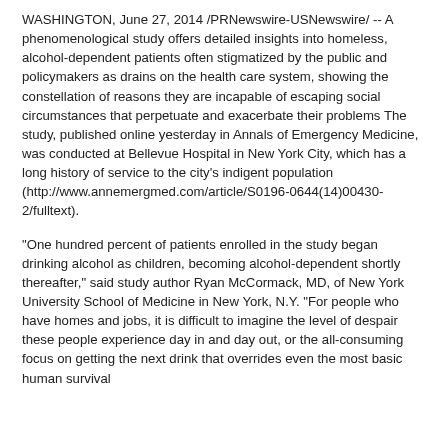WASHINGTON, June 27, 2014 /PRNewswire-USNewswire/ -- A phenomenological study offers detailed insights into homeless, alcohol-dependent patients often stigmatized by the public and policymakers as drains on the health care system, showing the constellation of reasons they are incapable of escaping social circumstances that perpetuate and exacerbate their problems The study, published online yesterday in Annals of Emergency Medicine, was conducted at Bellevue Hospital in New York City, which has a long history of service to the city's indigent population (http://www.annemergmed.com/article/S0196-0644(14)00430-2/fulltext).
"One hundred percent of patients enrolled in the study began drinking alcohol as children, becoming alcohol-dependent shortly thereafter," said study author Ryan McCormack, MD, of New York University School of Medicine in New York, N.Y. "For people who have homes and jobs, it is difficult to imagine the level of despair these people experience day in and day out, or the all-consuming focus on getting the next drink that overrides even the most basic human survival